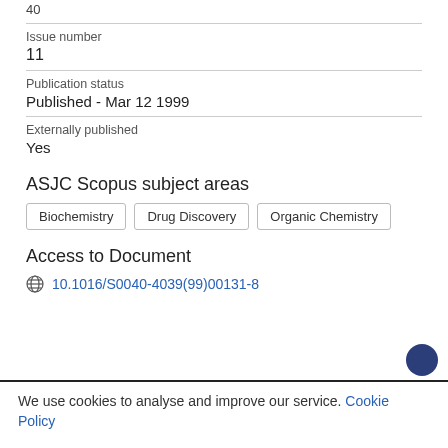40
Issue number
11
Publication status
Published - Mar 12 1999
Externally published
Yes
ASJC Scopus subject areas
Biochemistry
Drug Discovery
Organic Chemistry
Access to Document
10.1016/S0040-4039(99)00131-8
We use cookies to analyse and improve our service. Cookie Policy